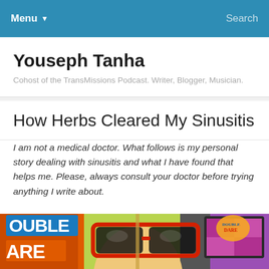Menu  Search
Youseph Tanha
Cohost of the TransMissions Podcast. Writer, Blogger, Musician.
How Herbs Cleared My Sinusitis
I am not a medical doctor. What follows is my personal story dealing with sinusitis and what I have found that helps me. Please, always consult your doctor before trying anything I write about.
[Figure (photo): Photo of a large novelty nose prop wearing red-framed sunglasses in front of a Double Dare TV show backdrop with colorful graphics and a monitor showing the Double Dare logo.]